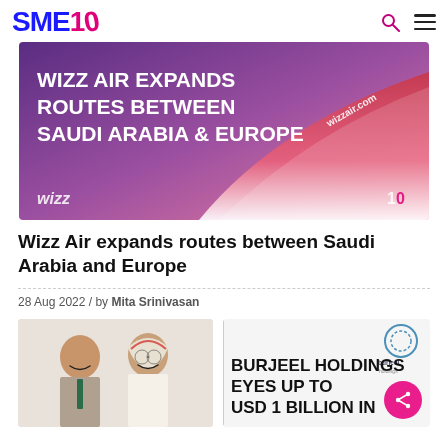SME10
[Figure (photo): Wizz Air airplane winglet with text 'WIZZ AIR EXPANDS ROUTES BETWEEN SAUDI ARABIA & EUROPE' overlaid on a purple/pink sky background. Wizz logo bottom-left, 10 logo bottom-right.]
Wizz Air expands routes between Saudi Arabia and Europe
28 Aug 2022 / by Mita Srinivasan
[Figure (photo): Two men smiling at an event (left: Indian man in suit, right: Arab man in traditional dress). Right side shows partial text 'BURJEEL HOLDINGS EYES UP TO USD 1 BILLION IN' with Burjeel Holdings logo.]